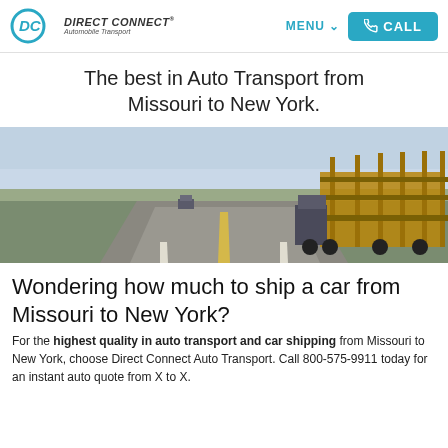DIRECT CONNECT® Automobile Transport | MENU | CALL
The best in Auto Transport from Missouri to New York.
[Figure (photo): An empty car transport trailer on a highway, with another truck visible in the distance and flat farmland under a clear sky.]
Wondering how much to ship a car from Missouri to New York?
For the highest quality in auto transport and car shipping from Missouri to New York, choose Direct Connect Auto Transport. Call 800-575-9911 today for an instant auto quote from X to X.